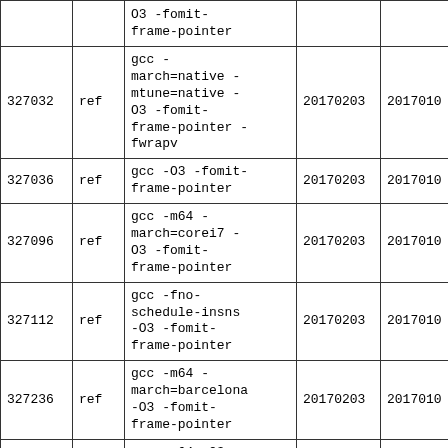|  |  | O3 -fomit-frame-pointer |  |  |
| 327032 | ref | gcc -march=native -mtune=native -O3 -fomit-frame-pointer -fwrapv | 20170203 | 2017010 |
| 327036 | ref | gcc -O3 -fomit-frame-pointer | 20170203 | 2017010 |
| 327096 | ref | gcc -m64 -march=corei7 -O3 -fomit-frame-pointer | 20170203 | 2017010 |
| 327112 | ref | gcc -fno-schedule-insns -O3 -fomit-frame-pointer | 20170203 | 2017010 |
| 327236 | ref | gcc -m64 -march=barcelona -O3 -fomit-frame-pointer | 20170203 | 2017010 |
| 327480 | ref | gcc -m64 -O3 -fomit-frame-pointer | 20170203 | 2017010 |
|  |  | gcc -m64 -march=core2 - |  |  |